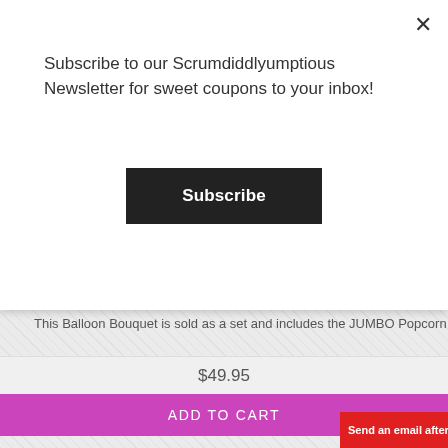Subscribe to our Scrumdiddlyumptious Newsletter for sweet coupons to your inbox!
Subscribe
This Balloon Bouquet is sold as a set and includes the JUMBO Popcorn Shap
$49.95
ADD TO CART
[Figure (photo): Comic book style Super balloon with blue background, stars, and colorful text]
Send an email after hour...